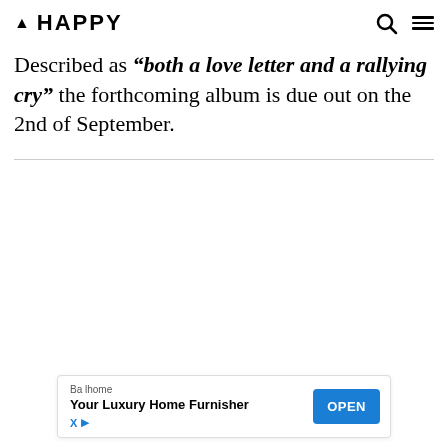▲ HAPPY
Described as "both a love letter and a rallying cry" the forthcoming album is due out on the 2nd of September.
[Figure (other): Advertisement banner for Balhome luxury home furnisher with OPEN button]